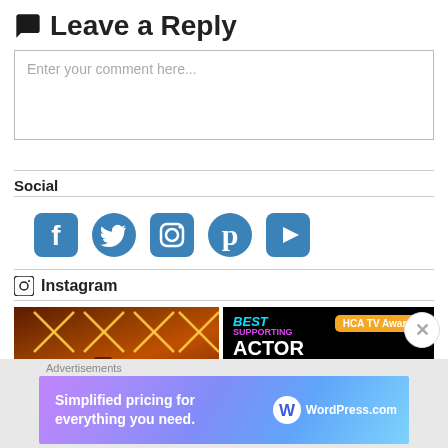Leave a Reply
Enter your comment here...
Social
[Figure (infographic): Row of social media icons: Facebook, Twitter, Instagram, Pinterest, YouTube in blue]
Instagram
[Figure (photo): Two Instagram photos: one showing a venue with neon X lights on ceiling; one showing 'Best Supporting Actor' HCA TV Awards graphic]
Advertisements
[Figure (infographic): WordPress.com advertisement banner: 'Simplified pricing for everything you need. WordPress.com']